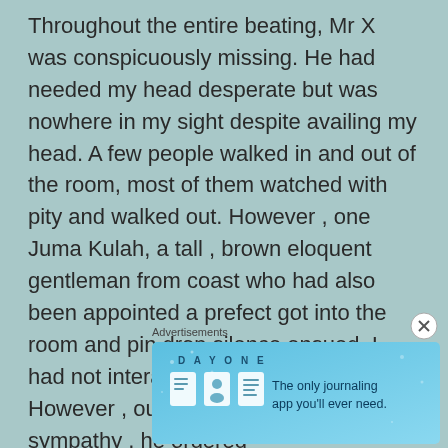Throughout the entire beating, Mr X was conspicuously missing. He had needed my head desperate but was nowhere in my sight despite availing my head. A few people walked in and out of the room, most of them watched with pity and walked out. However , one Juma Kulah, a tall , brown eloquent gentleman from coast who had also been appointed a prefect got into the room and pin drop silence ensued. I had not interacted with him a lot. However , out of guilt or probably sympathy , he ordered
Advertisements
[Figure (other): DAY ONE journaling app advertisement banner with icons of a notebook, person, and document, with tagline 'The only journaling app you'll ever need.']